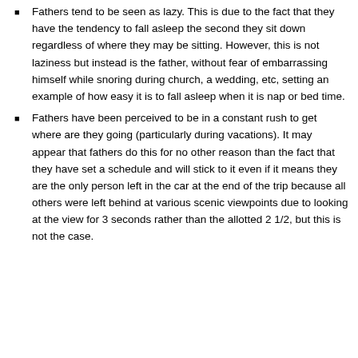Fathers tend to be seen as lazy. This is due to the fact that they have the tendency to fall asleep the second they sit down regardless of where they may be sitting. However, this is not laziness but instead is the father, without fear of embarrassing himself while snoring during church, a wedding, etc, setting an example of how easy it is to fall asleep when it is nap or bed time.
Fathers have been perceived to be in a constant rush to get where are they going (particularly during vacations). It may appear that fathers do this for no other reason than the fact that they have set a schedule and will stick to it even if it means they are the only person left in the car at the end of the trip because all others were left behind at various scenic viewpoints due to looking at the view for 3 seconds rather than the allotted 2 1/2, but this is not the case.